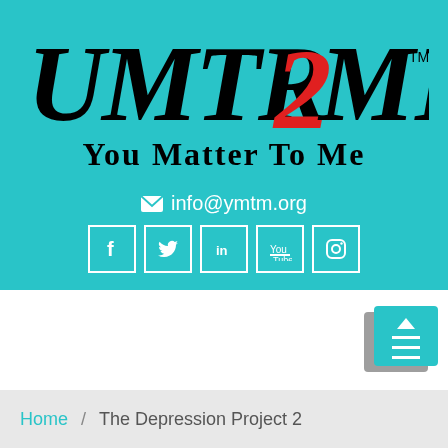[Figure (logo): UMTR2ME You Matter To Me logo on teal background with email info@ymtm.org and social media icons for Facebook, Twitter, LinkedIn, YouTube, Instagram]
[Figure (other): Navigation/menu button with gray and teal overlapping squares, hamburger lines and up arrow]
Home / The Depression Project 2